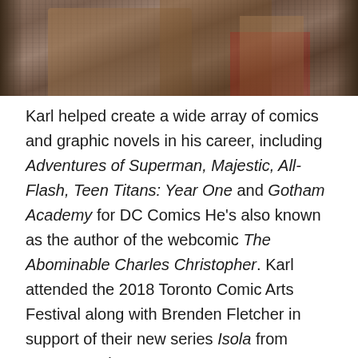[Figure (photo): Partial photo of a person, cropped at the top of the page showing clothing/costume detail in brown and reddish tones]
Karl helped create a wide array of comics and graphic novels in his career, including Adventures of Superman, Majestic, All-Flash, Teen Titans: Year One and Gotham Academy for DC Comics He's also known as the author of the webcomic The Abominable Charles Christopher. Karl attended the 2018 Toronto Comic Arts Festival along with Brenden Fletcher in support of their new series Isola from Image Comics.